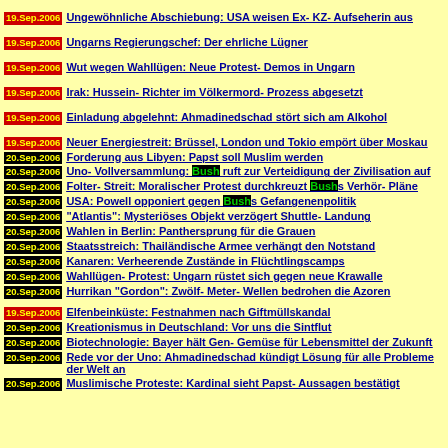19.Sep.2006 Ungewöhnliche Abschiebung: USA weisen Ex- KZ- Aufseherin aus
19.Sep.2006 Ungarns Regierungschef: Der ehrliche Lügner
19.Sep.2006 Wut wegen Wahllügen: Neue Protest- Demos in Ungarn
19.Sep.2006 Irak: Hussein- Richter im Völkermord- Prozess abgesetzt
19.Sep.2006 Einladung abgelehnt: Ahmadinedschad stört sich am Alkohol
19.Sep.2006 Neuer Energiestreit: Brüssel, London und Tokio empört über Moskau
20.Sep.2006 Forderung aus Libyen: Papst soll Muslim werden
20.Sep.2006 Uno- Vollversammlung: Bush ruft zur Verteidigung der Zivilisation auf
20.Sep.2006 Folter- Streit: Moralischer Protest durchkreuzt Bushs Verhör- Pläne
20.Sep.2006 USA: Powell opponiert gegen Bushs Gefangenenpolitik
20.Sep.2006 "Atlantis": Mysteriöses Objekt verzögert Shuttle- Landung
20.Sep.2006 Wahlen in Berlin: Panthersprung für die Grauen
20.Sep.2006 Staatsstreich: Thailändische Armee verhängt den Notstand
20.Sep.2006 Kanaren: Verheerende Zustände in Flüchtlingscamps
20.Sep.2006 Wahllügen- Protest: Ungarn rüstet sich gegen neue Krawalle
20.Sep.2006 Hurrikan "Gordon": Zwölf- Meter- Wellen bedrohen die Azoren
19.Sep.2006 Elfenbeinküste: Festnahmen nach Giftmüllskandal
20.Sep.2006 Kreationismus in Deutschland: Vor uns die Sintflut
20.Sep.2006 Biotechnologie: Bayer hält Gen- Gemüse für Lebensmittel der Zukunft
20.Sep.2006 Rede vor der Uno: Ahmadinedschad kündigt Lösung für alle Probleme der Welt an
20.Sep.2006 Muslimische Proteste: Kardinal sieht Papst- Aussagen bestätigt